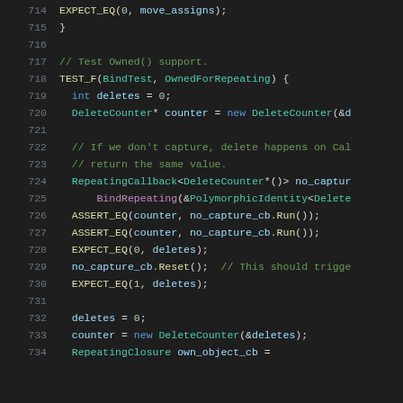714   EXPECT_EQ(0, move_assigns);
715   }
716
717   // Test Owned() support.
718   TEST_F(BindTest, OwnedForRepeating) {
719     int deletes = 0;
720     DeleteCounter* counter = new DeleteCounter(&d
721
722     // If we don't capture, delete happens on Cal
723     // return the same value.
724     RepeatingCallback<DeleteCounter*()> no_captur
725         BindRepeating(&PolymorphicIdentity<Delete
726     ASSERT_EQ(counter, no_capture_cb.Run());
727     ASSERT_EQ(counter, no_capture_cb.Run());
728     EXPECT_EQ(0, deletes);
729     no_capture_cb.Reset();  // This should trigge
730     EXPECT_EQ(1, deletes);
731
732     deletes = 0;
733     counter = new DeleteCounter(&deletes);
734     RepeatingClosure own_object_cb =